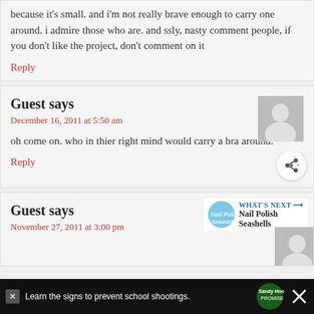because it's small. and i'm not really brave enough to carry one around. i admire those who are. and ssly, nasty comment people, if you don't like the project, don't comment on it
Reply
Guest says
December 16, 2011 at 5:50 am
oh come on. who in thier right mind would carry a bra around.
Reply
Guest says
November 27, 2011 at 3:00 pm
WHAT'S NEXT → Nail Polish Seashells
Learn the signs to prevent school shootings.